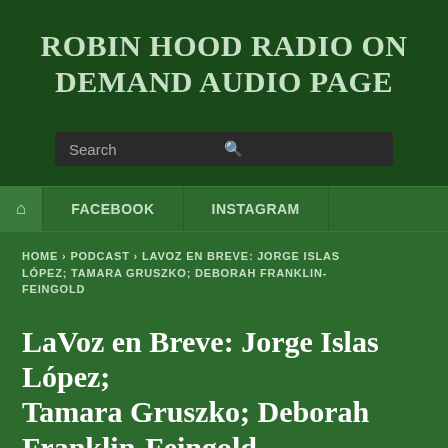ROBIN HOOD RADIO ON DEMAND AUDIO PAGE
[Figure (other): Search bar with dark background and magnifying glass icon]
HOME  FACEBOOK  INSTAGRAM
HOME › PODCAST › LAVOZ EN BREVE: JORGE ISLAS LÓPEZ; TAMARA GRUSZKO; DEBORAH FRANKLIN-FEINGOLD
LaVoz en Breve: Jorge Islas López; Tamara Gruszko; Deborah Franklin-Feingold
BY EDITOR on MAY 7, 2020 • 💬 ( 0 )